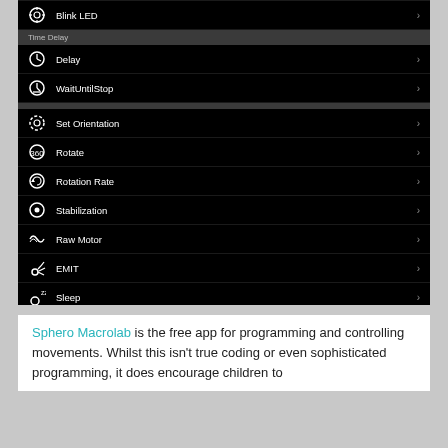[Figure (screenshot): Android app screenshot showing a list of Sphero Macrolab programming commands including Delay, WaitUntilStop, Set Orientation, Rotate, Rotation Rate, Stabilization, Raw Motor, EMIT, Sleep, Loop Start, Loop End, and Comment, each with an icon and right arrow.]
Sphero Macrolab is the free app for programming and controlling movements. Whilst this isn't true coding or even sophisticated programming, it does encourage children to